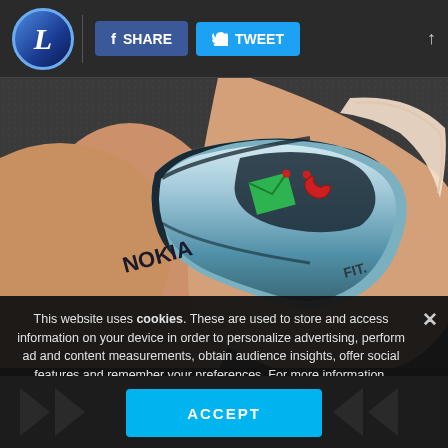L | SHARE | TWEET
[Figure (photo): Close-up photo of a Nokia concept ring/wearable phone shaped device worn on a finger, showing the Nokia logo and icons including a green envelope (message) and red phone (call) icon, with 'FIT.' text on the silver metallic band.]
This website uses cookies. These are used to store and access information on your device in order to personalize advertising, perform ad and content measurements, obtain audience insights, offer social features and remember your preferences. For more information, including managing of your consent, see our Privacy and Cookie Policy.
ACCEPT